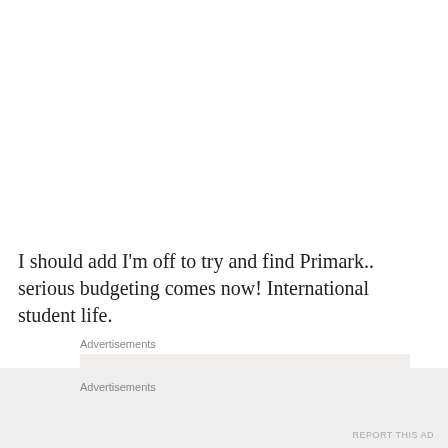I should add I'm off to try and find Primark.. serious budgeting comes now! International student life.
Advertisements
Business in
Advertisements
REPORT THIS AD